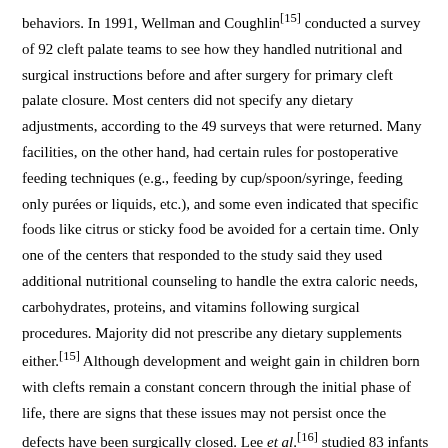behaviors. In 1991, Wellman and Coughlin[15] conducted a survey of 92 cleft palate teams to see how they handled nutritional and surgical instructions before and after surgery for primary cleft palate closure. Most centers did not specify any dietary adjustments, according to the 49 surveys that were returned. Many facilities, on the other hand, had certain rules for postoperative feeding techniques (e.g., feeding by cup/spoon/syringe, feeding only purées or liquids, etc.), and some even indicated that specific foods like citrus or sticky food be avoided for a certain time. Only one of the centers that responded to the study said they used additional nutritional counseling to handle the extra caloric needs, carbohydrates, proteins, and vitamins following surgical procedures. Majority did not prescribe any dietary supplements either.[15] Although development and weight gain in children born with clefts remain a constant concern through the initial phase of life, there are signs that these issues may not persist once the defects have been surgically closed. Lee et al.[16] studied 83 infants aged 0–4 years who had a cleft lip and/or palate. They found that this group, in early infancy, developed slowly but caught up later, reaching the predicted anthropometric parameters at the last follow-up at 25.5 months of age.
However, if the groups they were in had experienced a dietary handout at the...